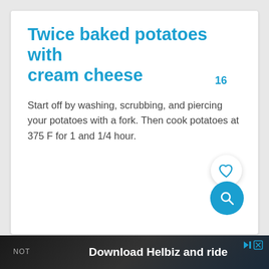Twice baked potatoes with cream cheese
Start off by washing, scrubbing, and piercing your potatoes with a fork. Then cook potatoes at 375 F for 1 and 1/4 hour.
[Figure (other): Like/heart button with count of 16 likes, and a circular search button below]
[Figure (other): Advertisement banner: Download Helbiz and ride, showing a scooter handlebar image with close/skip controls]